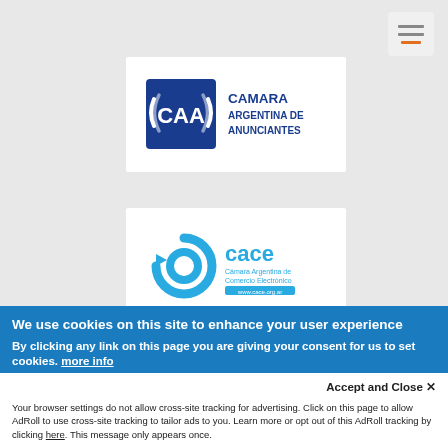[Figure (logo): Hamburger/menu icon button with three lines, bottom line orange, on light gray rounded background, top right corner]
[Figure (logo): CAA - Camara Argentina de Anunciantes logo. Blue square with CAA text and wifi-like arcs, with CAMARA ARGENTINA DE ANUNCIANTES text in dark blue. White card background.]
[Figure (logo): CACE - Camara Argentina de Comercio Electronico logo. Light blue circular interlocking symbol with cace text in light blue. White card background.]
We use cookies on this site to enhance your user experience
By clicking any link on this page you are giving your consent for us to set cookies. more info
Accept and Close ✕
Your browser settings do not allow cross-site tracking for advertising. Click on this page to allow AdRoll to use cross-site tracking to tailor ads to you. Learn more or opt out of this AdRoll tracking by clicking here. This message only appears once.